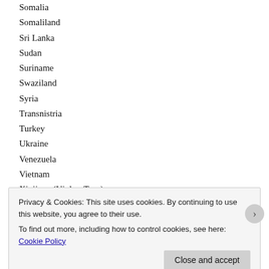Somalia
Somaliland
Sri Lanka
Sudan
Suriname
Swaziland
Syria
Transnistria
Turkey
Ukraine
Venezuela
Vietnam
Xinjiang (Uighur Tour)
Yemen
Zululand (South Africa)
“Normal” Places We Go
Privacy & Cookies: This site uses cookies. By continuing to use this website, you agree to their use.
To find out more, including how to control cookies, see here: Cookie Policy
Advertisements
Launch your online course with WordPress